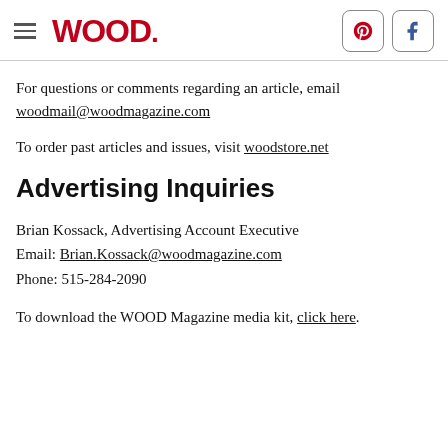WOOD. [Pinterest] [Facebook]
For questions or comments regarding an article, email woodmail@woodmagazine.com
To order past articles and issues, visit woodstore.net
Advertising Inquiries
Brian Kossack, Advertising Account Executive
Email: Brian.Kossack@woodmagazine.com
Phone: 515-284-2090
To download the WOOD Magazine media kit, click here.